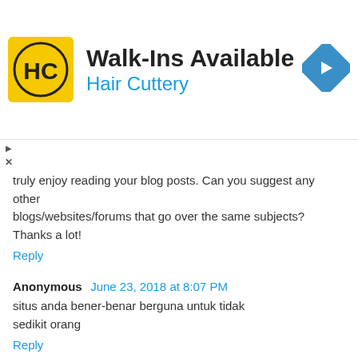[Figure (logo): Hair Cuttery advertisement banner with HC logo, 'Walk-Ins Available' heading, 'Hair Cuttery' subtitle in blue, and a blue diamond-shaped navigation icon on the right]
truly enjoy reading your blog posts. Can you suggest any other blogs/websites/forums that go over the same subjects? Thanks a lot!
Reply
Anonymous  June 23, 2018 at 8:07 PM
situs anda bener-benar berguna untuk tidak sedikit orang
Reply
Anonymous  June 24, 2018 at 8:40 AM
I am sure this piece of writing has touched all the internet visitors, its really really nice paragraph on building up new